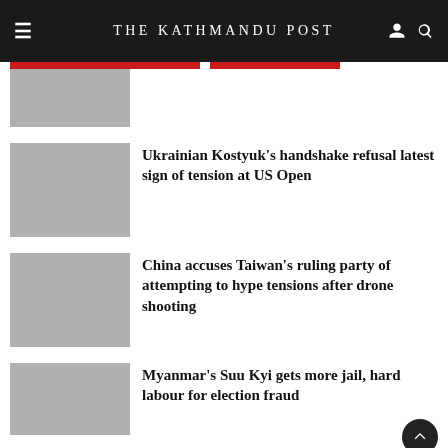THE KATHMANDU POST
[Figure (photo): Partial thumbnail image at top, partially visible]
Ukrainian Kostyuk's handshake refusal latest sign of tension at US Open
[Figure (photo): Thumbnail image placeholder for Kostyuk article]
China accuses Taiwan's ruling party of attempting to hype tensions after drone shooting
[Figure (photo): Thumbnail image placeholder for China/Taiwan article]
Myanmar's Suu Kyi gets more jail, hard labour for election fraud
[Figure (photo): Thumbnail image placeholder for Myanmar article]